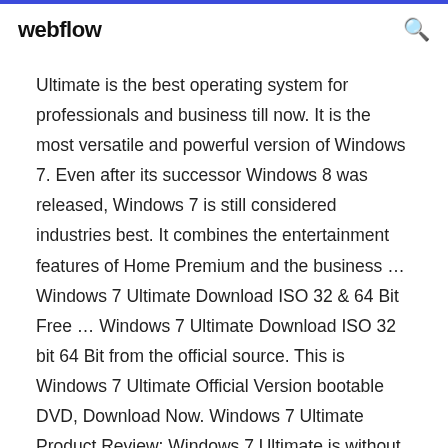webflow
Ultimate is the best operating system for professionals and business till now. It is the most versatile and powerful version of Windows 7. Even after its successor Windows 8 was released, Windows 7 is still considered industries best. It combines the entertainment features of Home Premium and the business … Windows 7 Ultimate Download ISO 32 & 64 Bit Free … Windows 7 Ultimate Download ISO 32 bit 64 Bit from the official source. This is Windows 7 Ultimate Official Version bootable DVD, Download Now. Windows 7 Ultimate Product Review: Windows 7 Ultimate is without any doubt the best edition of Win 7 series, because of its stability and powerful features